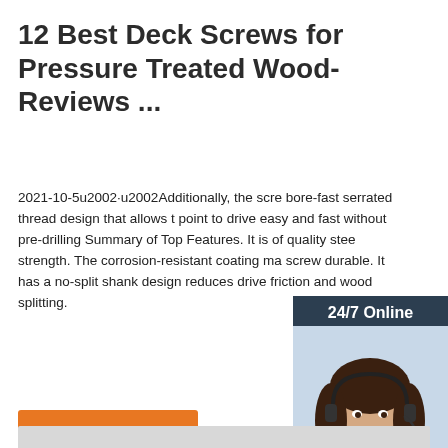12 Best Deck Screws for Pressure Treated Wood- Reviews ...
2021-10-5u2002·u2002Additionally, the scre bore-fast serrated thread design that allows t point to drive easy and fast without pre-drilling Summary of Top Features. It is of quality stee strength. The corrosion-resistant coating ma screw durable. It has a no-split shank design reduces drive friction and wood splitting.
[Figure (illustration): Side advertisement widget with dark background showing '24/7 Online' header, photo of a woman with headset smiling, text 'Click here for free chat !' and an orange QUOTATION button]
Get Price